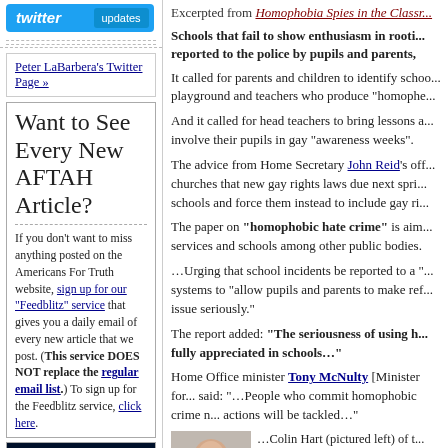[Figure (screenshot): Twitter updates logo/button at top of left column]
Peter LaBarbera's Twitter Page »
Want to See Every New AFTAH Article?
If you don't want to miss anything posted on the Americans For Truth website, sign up for our "Feedblitz" service that gives you a daily email of every new article that we post. (This service DOES NOT replace the regular email list.) To sign up for the Feedblitz service, click here.
[Figure (logo): Americans For Truth logo at bottom of left column]
Excerpted from Homophobia Spies in the Classr...
Schools that fail to show enthusiasm in rooti... reported to the police by pupils and parents,
It called for parents and children to identify schoo... playground and teachers who produce "homophe...
And it called for head teachers to bring lessons a... involve their pupils in gay "awareness weeks".
The advice from Home Secretary John Reid's off... churches that new gay rights laws due next spri... schools and force them instead to include gay ri...
The paper on "homophobic hate crime" is aim... services and schools among other public bodies.
…Urging that school incidents be reported to a "... systems to "allow pupils and parents to make ref... issue seriously."
The report added: "The seriousness of using h... fully appreciated in schools…"
Home Office minister Tony McNulty [Minister for... said: "…People who commit homophobic crime n... actions will be tackled…"
[Figure (photo): Portrait photo of Colin Hart on left side of bottom section]
…Colin Hart (pictured left) of t... that backed the Roberts said y... this advice. No-one wants to s... about bullying of pupils who o...